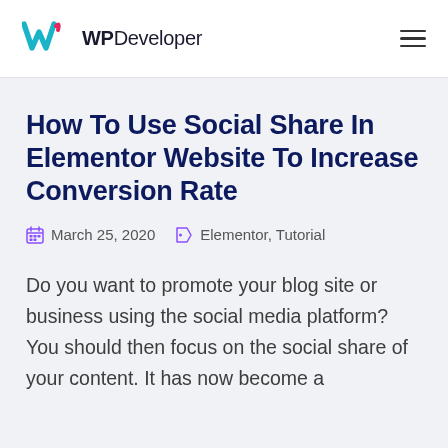WPDeveloper
How To Use Social Share In Elementor Website To Increase Conversion Rate
March 25, 2020   Elementor, Tutorial
Do you want to promote your blog site or business using the social media platform? You should then focus on the social share of your content. It has now become a